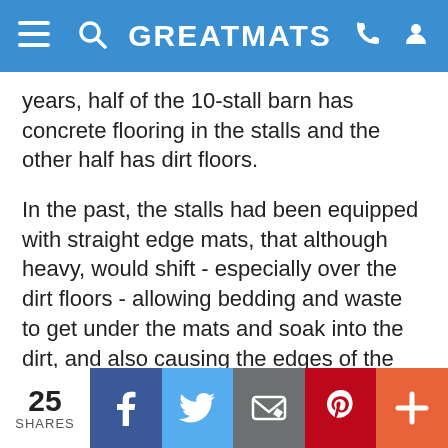GREATMATS
years, half of the 10-stall barn has concrete flooring in the stalls and the other half has dirt floors.
In the past, the stalls had been equipped with straight edge mats, that although heavy, would shift - especially over the dirt floors - allowing bedding and waste to get under the mats and soak into the dirt, and also causing the edges of the mats to be exposed.
“The horses would be catching the edges of the mats, tripping over them, tearing them up,” Jen said. “Every season, we would have to pull the mats out
25 SHARES